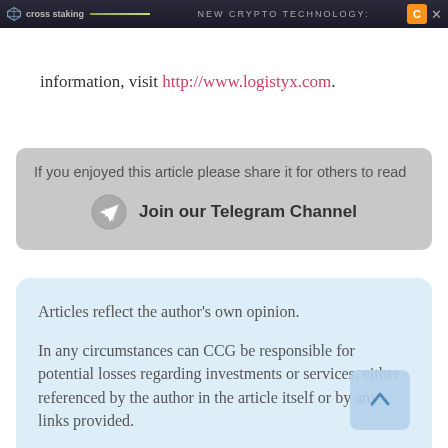cross staking | NEW CRYPTO TECHNOLOGY:
information, visit http://www.logistyx.com.
If you enjoyed this article please share it for others to read
Join our Telegram Channel
Articles reflect the author's own opinion.

In any circumstances can CCG be responsible for potential losses regarding investments or services, either referenced by the author in the article itself or by any links provided.

This platform is intended to share